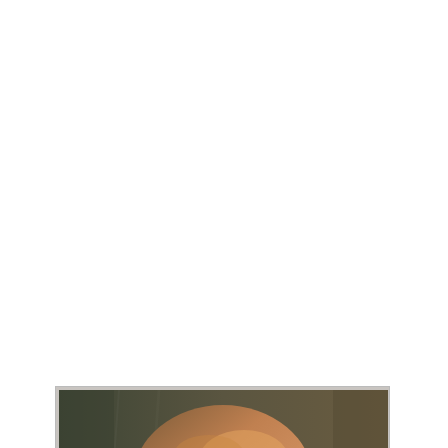re was delicious cake.
[Figure (photo): A photograph of a person with reddish-blonde hair against a dark background, showing top of head and face partially.]